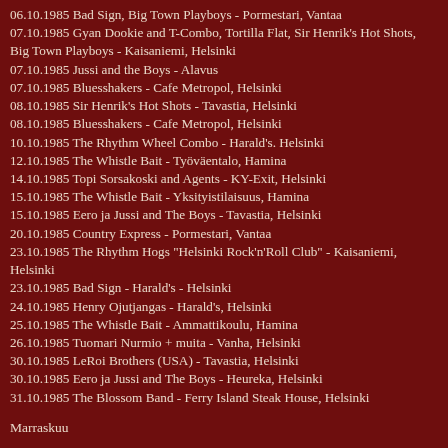06.10.1985 Bad Sign, Big Town Playboys - Pormestari, Vantaa
07.10.1985 Gyan Dookie and T-Combo, Tortilla Flat, Sir Henrik's Hot Shots, Big Town Playboys - Kaisaniemi, Helsinki
07.10.1985 Jussi and the Boys - Alavus
07.10.1985 Bluesshakers - Cafe Metropol, Helsinki
08.10.1985 Sir Henrik's Hot Shots - Tavastia, Helsinki
08.10.1985 Bluesshakers - Cafe Metropol, Helsinki
10.10.1985 The Rhythm Wheel Combo - Harald's. Helsinki
12.10.1985 The Whistle Bait - Työväentalo, Hamina
14.10.1985 Topi Sorsakoski and Agents - KY-Exit, Helsinki
15.10.1985 The Whistle Bait - Yksityistilaisuus, Hamina
15.10.1985 Eero ja Jussi and The Boys - Tavastia, Helsinki
20.10.1985 Country Express - Pormestari, Vantaa
23.10.1985 The Rhythm Hogs "Helsinki Rock'n'Roll Club" - Kaisaniemi, Helsinki
23.10.1985 Bad Sign - Harald's - Helsinki
24.10.1985 Henry Ojutjangas - Harald's, Helsinki
25.10.1985 The Whistle Bait - Ammattikoulu, Hamina
26.10.1985 Tuomari Nurmio + muita - Vanha, Helsinki
30.10.1985 LeRoi Brothers (USA) - Tavastia, Helsinki
30.10.1985 Eero ja Jussi and The Boys - Heureka, Helsinki
31.10.1985 The Blossom Band - Ferry Island Steak House, Helsinki
Marraskuu